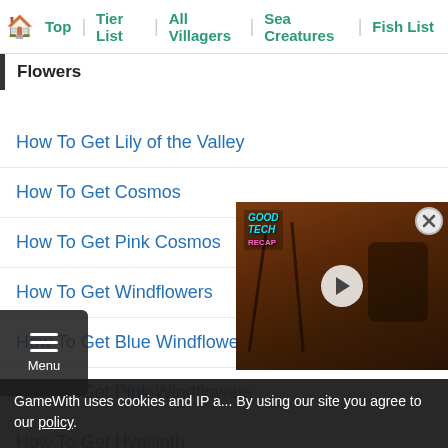🏠 Top | Tier List | All Villagers | Sea Creatures | Fish List
Flowers
How To Get Lily of the Valley
How To Get Cosmos
How To Get Pink Cosmos
How To Get Windflowers
How To Get Blue Windflowers
How To Get Pink Windflowers
How To Get Hyacinth
How To Get Blue Hyacinth
[Figure (screenshot): Video player overlay showing headphones on a wooden surface, with GoodTech logo, close button, and play button]
GameWith uses cookies and IP a... By using our site you agree to our policy.